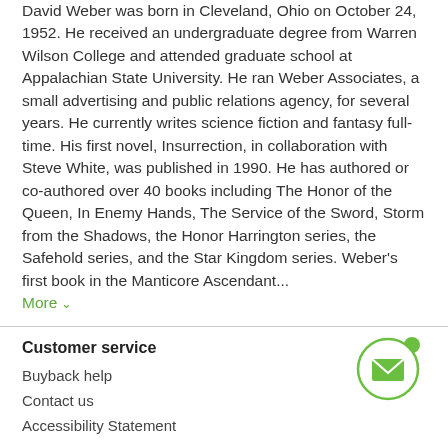David Weber was born in Cleveland, Ohio on October 24, 1952. He received an undergraduate degree from Warren Wilson College and attended graduate school at Appalachian State University. He ran Weber Associates, a small advertising and public relations agency, for several years. He currently writes science fiction and fantasy full-time. His first novel, Insurrection, in collaboration with Steve White, was published in 1990. He has authored or co-authored over 40 books including The Honor of the Queen, In Enemy Hands, The Service of the Sword, Storm from the Shadows, the Honor Harrington series, the Safehold series, and the Star Kingdom series. Weber's first book in the Manticore Ascendant...
More ›
Customer service
Buyback help
Contact us
Accessibility Statement
[Figure (illustration): Green circle with white envelope/mail icon inside, with a small green circle accent at top right]